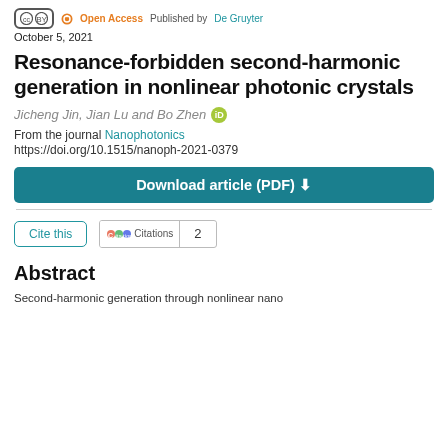Open Access  Published by De Gruyter  October 5, 2021
Resonance-forbidden second-harmonic generation in nonlinear photonic crystals
Jicheng Jin, Jian Lu and Bo Zhen
From the journal Nanophotonics
https://doi.org/10.1515/nanoph-2021-0379
Download article (PDF)
Cite this  Citations  2
Abstract
Second-harmonic generation through nonlinear nano...